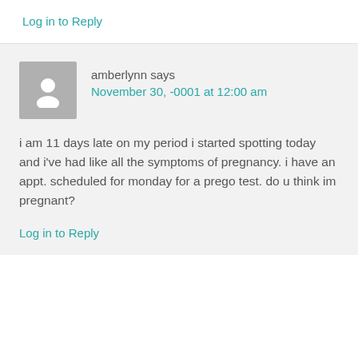Log in to Reply
amberlynn says
November 30, -0001 at 12:00 am
i am 11 days late on my period i started spotting today and i've had like all the symptoms of pregnancy. i have an appt. scheduled for monday for a prego test. do u think im pregnant?
Log in to Reply